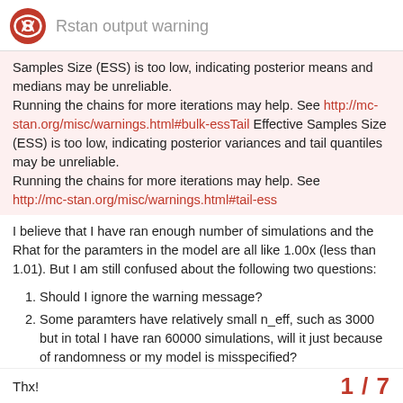Rstan output warning
Samples Size (ESS) is too low, indicating posterior means and medians may be unreliable.
Running the chains for more iterations may help. See http://mc-stan.org/misc/warnings.html#bulk-essTail Effective Samples Size (ESS) is too low, indicating posterior variances and tail quantiles may be unreliable.
Running the chains for more iterations may help. See http://mc-stan.org/misc/warnings.html#tail-ess
I believe that I have ran enough number of simulations and the Rhat for the paramters in the model are all like 1.00x (less than 1.01). But I am still confused about the following two questions:
Should I ignore the warning message?
Some paramters have relatively small n_eff, such as 3000 but in total I have ran 60000 simulations, will it just because of randomness or my model is misspecified?
Thx!  1 / 7